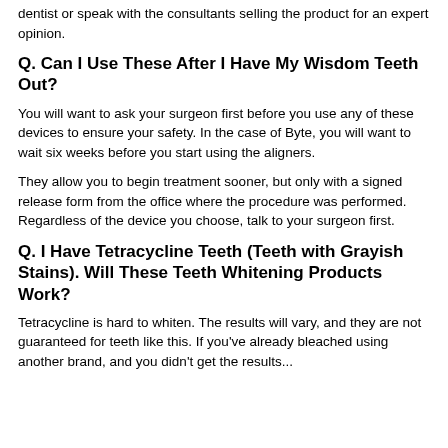dentist or speak with the consultants selling the product for an expert opinion.
Q. Can I Use These After I Have My Wisdom Teeth Out?
You will want to ask your surgeon first before you use any of these devices to ensure your safety. In the case of Byte, you will want to wait six weeks before you start using the aligners.
They allow you to begin treatment sooner, but only with a signed release form from the office where the procedure was performed. Regardless of the device you choose, talk to your surgeon first.
Q. I Have Tetracycline Teeth (Teeth with Grayish Stains). Will These Teeth Whitening Products Work?
Tetracycline is hard to whiten. The results will vary, and they are not guaranteed for teeth like this. If you've already bleached using another brand, and you didn't get the results...